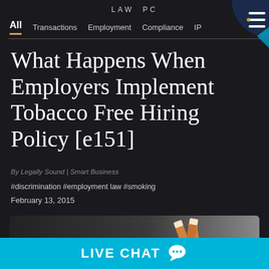LAW PC
All  Transactions  Employment  Compliance  IP
What Happens When Employers Implement Tobacco Free Hiring Policy [e151]
By Legally Sound | Smart Business
#discrimination #employment law #smoking
February 13, 2015
[Figure (photo): Cigarettes photo on dark background]
LIVE CHAT